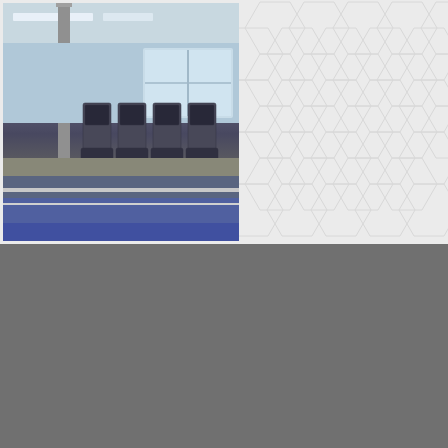[Figure (photo): Interior photo of a fitness center/gym showing a row of treadmills lined up on a blue track floor, with large windows in the background and industrial ceiling with overhead lighting.]
We use cookies to improve user experience and analyze website traffic. By clicking “Accept,” you agree to our website’s cookie use as described in our Cookie Policy. You can change your cookie settings at any time by clicking “Preferences.”
Decline
Accept
Preferences